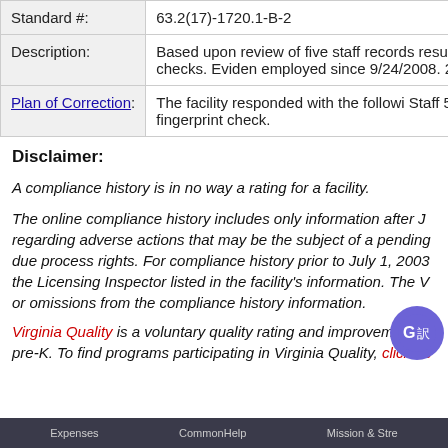| Field | Value |
| --- | --- |
| Standard #: | 63.2(17)-1720.1-B-2 |
| Description: | Based upon review of five staff records results of fingerprinting checks. Eviden employed since 9/24/2008. 2. Staff 6 v |
| Plan of Correction: | The facility responded with the followi Staff 5 will obtain a fingerprint check. |
Disclaimer:
A compliance history is in no way a rating for a facility.
The online compliance history includes only information after J regarding adverse actions that may be the subject of a pending due process rights. For compliance history prior to July 1, 2003 the Licensing Inspector listed in the facility's information. The V or omissions from the compliance history information.
Virginia Quality is a voluntary quality rating and improvement sy pre-K. To find programs participating in Virginia Quality, click he
Expenses   CommonHelp   Mission & Stre